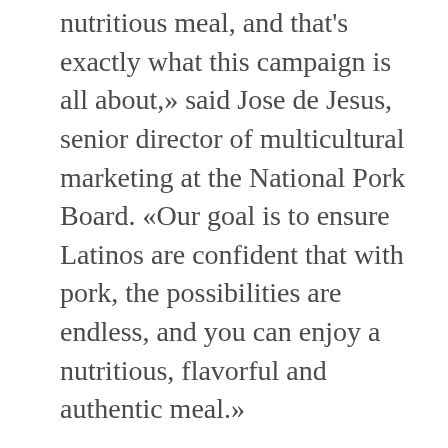nutritious meal, and that's exactly what this campaign is all about,» said Jose de Jesus, senior director of multicultural marketing at the National Pork Board. «Our goal is to ensure Latinos are confident that with pork, the possibilities are endless, and you can enjoy a nutritious, flavorful and authentic meal.»
Menú Urbano FRESH is launching just in time to celebrate National Nutrition Month. Along with Martínez, the National Pork